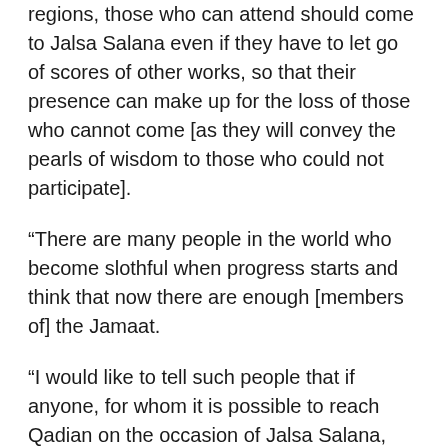regions, those who can attend should come to Jalsa Salana even if they have to let go of scores of other works, so that their presence can make up for the loss of those who cannot come [as they will convey the pearls of wisdom to those who could not participate].
“There are many people in the world who become slothful when progress starts and think that now there are enough [members of] the Jamaat.
“I would like to tell such people that if anyone, for whom it is possible to reach Qadian on the occasion of Jalsa Salana, shows negligence in coming here, it will have an inevitable effect on their neighbours and children. I have observed that friends who come to Qadian for Jalsa Salana once a year and bring their families with them, Ahmadiyyat persists in their progenies, and even